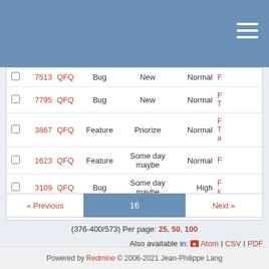|  | # | Project | Tracker | Status | Priority | Subject |
| --- | --- | --- | --- | --- | --- | --- |
| ☐ | 7513 | QFQ | Bug | New | Normal | F... |
| ☐ | 7795 | QFQ | Bug | New | Normal | F... |
| ☐ | 3867 | QFQ | Feature | Priorize | Normal | F... |
| ☐ | 1623 | QFQ | Feature | Some day maybe | Normal | F... |
| ☐ | 3109 | QFQ | Bug | Some day maybe | High | F...k |
| ☐ | 7280 | QFQ | Feature | New | Normal | n... |
« Previous  16  Next »
(376-400/573) Per page: 25, 50, 100
Also available in: Atom | CSV | PDF
Powered by Redmine © 2006-2021 Jean-Philippe Lang